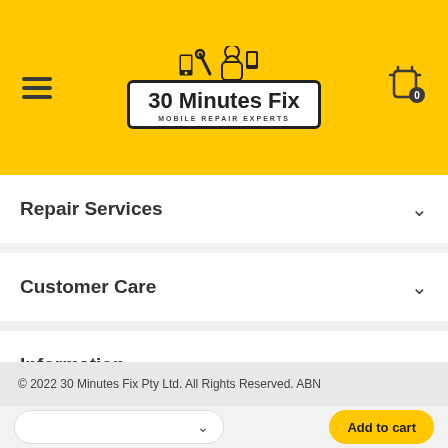[Figure (logo): 30 Minutes Fix - Mobile Repair Experts logo on yellow background with hamburger menu and cart icon]
Repair Services
Customer Care
Information
© 2022 30 Minutes Fix Pty Ltd. All Rights Reserved. ABN
Add to cart